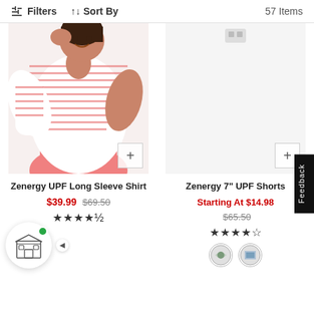Filters  ↑↓ Sort By  57 Items
[Figure (photo): Woman wearing pink and white striped long sleeve shirt with coral/pink pants, smiling with hand raised near face]
Zenergy UPF Long Sleeve Shirt
$39.99  $69.50  ★★★★½
[Figure (photo): White/empty product image area for Zenergy 7" UPF Shorts]
Zenergy 7" UPF Shorts
Starting At $14.98  $65.50  ★★★★☆